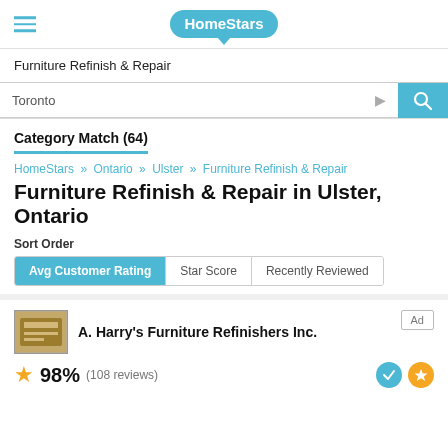HomeStars
Furniture Refinish & Repair
Toronto
Category Match (64)
HomeStars » Ontario » Ulster » Furniture Refinish & Repair
Furniture Refinish & Repair in Ulster, Ontario
Sort Order
Avg Customer Rating | Star Score | Recently Reviewed
A. Harry's Furniture Refinishers Inc.
98% (108 reviews)